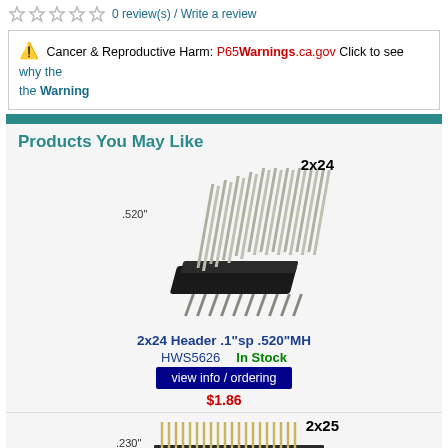0 review(s) / Write a review
⚠ Cancer & Reproductive Harm: P65Warnings.ca.gov Click to see why the Warning
Products You May Like
[Figure (photo): 2x24 dual-row pin header, .520" mating height, shown at angle with dimension label]
2x24 Header .1"sp .520"MH
HWS5626   In Stock
view info / ordering
$1.86
[Figure (photo): 2x25 dual-row pin header, .230" and .175" dimension labels shown]